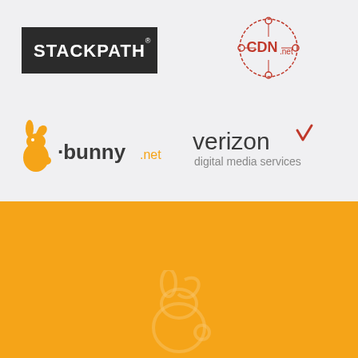[Figure (logo): StackPath logo - white text on dark/black rectangular background]
[Figure (logo): CDN.net logo - circular icon with nodes/dots and CDN text]
[Figure (logo): bunny.net logo - orange bunny mascot icon with bunny.net text in orange and dark]
[Figure (logo): Verizon digital media services logo - verizon text with checkmark and digital media services subtitle]
[Figure (illustration): Orange background bottom half with faint watermark of bunny.net logo]